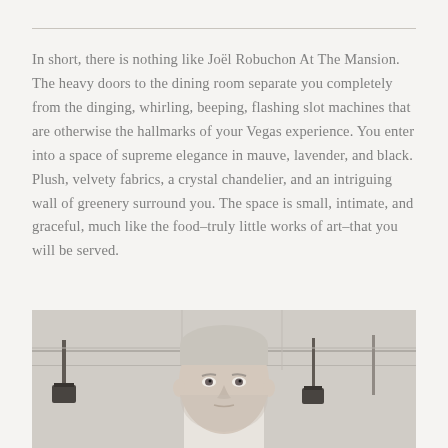In short, there is nothing like Joël Robuchon At The Mansion. The heavy doors to the dining room separate you completely from the dinging, whirling, beeping, flashing slot machines that are otherwise the hallmarks of your Vegas experience. You enter into a space of supreme elegance in mauve, lavender, and black. Plush, velvety fabrics, a crystal chandelier, and an intriguing wall of greenery surround you. The space is small, intimate, and graceful, much like the food–truly little works of art–that you will be served.
[Figure (photo): A man, presumably a chef, with gray-white hair, looking directly at the camera. Kitchen equipment visible in the background.]